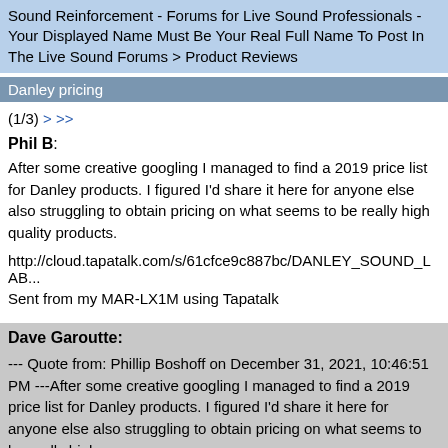Sound Reinforcement - Forums for Live Sound Professionals - Your Displayed Name Must Be Your Real Full Name To Post In The Live Sound Forums > Product Reviews
Danley pricing
(1/3) > >>
Phil B: After some creative googling I managed to find a 2019 price list for Danley products. I figured I'd share it here for anyone else also struggling to obtain pricing on what seems to be really high quality products.

http://cloud.tapatalk.com/s/61cfce9c887bc/DANLEY_SOUND_LAB...

Sent from my MAR-LX1M using Tapatalk
Dave Garoutte: --- Quote from: Phillip Boshoff on December 31, 2021, 10:46:51 PM ---After some creative googling I managed to find a 2019 price list for Danley products. I figured I'd share it here for anyone else also struggling to obtain pricing on what seems to be really high...